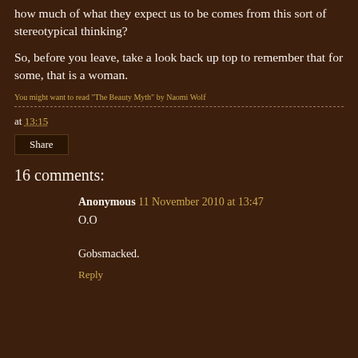how much of what they expect us to be comes from this sort of stereotypical thinking?
So, before you leave, take a look back up top to remember that for some, that is a woman.
You might want to read "The Beauty Myth" by Naomi Wolf
at 13:15
Share
16 comments:
Anonymous  11 November 2010 at 13:47
O.O

Gobsmacked.
Reply